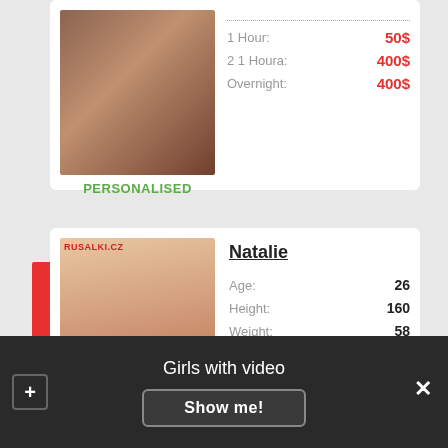[Figure (photo): Photo of person with reddish-brown hair in dim lighting]
PERSONALISED
1 Hour: 50$
2 1 Houra: 400$
Overnight: 400$
[Figure (photo): Photo of Natalie, dark hair, RUSALKI.CZ watermark]
Natalie
| Attribute | Value |
| --- | --- |
| Age: | 26 |
| Height: | 160 |
| Weight: | 58 |
| Bust: | Large |
1 Hour: 150$
Два 1 Houra: +30$
Girls with video
Show me!